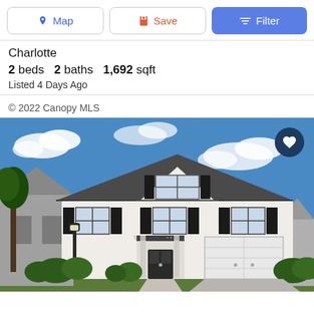[Figure (screenshot): Top navigation bar with Map, Save, and Filter buttons]
Charlotte
2 beds  2 baths  1,692 sqft
Listed 4 Days Ago
© 2022 Canopy MLS
[Figure (photo): Two-story white colonial-style house with dark shutters, a two-car garage, covered entry, black lamp post, shrubs in front, and a blue sky with clouds in the background. A heart/favorite button is visible in the top-right corner of the photo.]